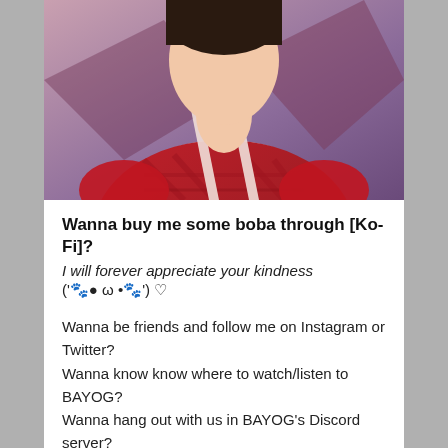[Figure (illustration): Anime-style illustration of a character wearing a red plaid outfit with white accents, upper body visible, purple-toned background.]
Wanna buy me some boba through [Ko-Fi]?
I will forever appreciate your kindness
('🐾● ω •🐾') ♡
Wanna be friends and follow me on Instagram or Twitter?
Wanna know know where to watch/listen to BAYOG?
Wanna hang out with us in BAYOG's Discord server?
I like to sing~ Wanna follow my covers on YouTube?
Wanna see what kind of music I've been listening to